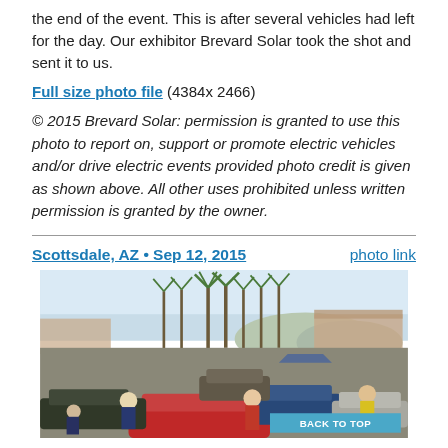the end of the event. This is after several vehicles had left for the day. Our exhibitor Brevard Solar took the shot and sent it to us.
Full size photo file (4384x 2466)
© 2015 Brevard Solar: permission is granted to use this photo to report on, support or promote electric vehicles and/or drive electric events provided photo credit is given as shown above. All other uses prohibited unless written permission is granted by the owner.
Scottsdale, AZ • Sep 12, 2015    photo link
[Figure (photo): Outdoor electric vehicle show in a parking lot with many cars, people milling around, palm trees in the background, and a commercial building visible. Sunny day.]
BACK TO TOP